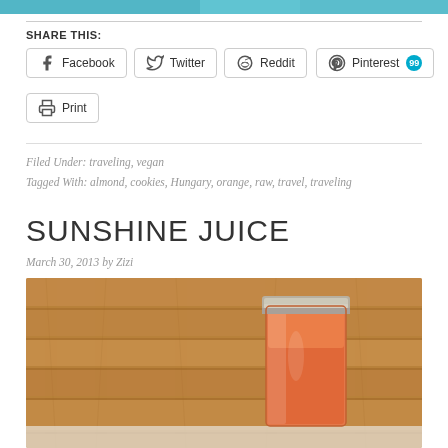[Figure (photo): Top portion of a teal/cyan colored image (cropped)]
SHARE THIS:
Facebook | Twitter | Reddit | Pinterest 99 | Print
Filed Under: traveling, vegan
Tagged With: almond, cookies, Hungary, orange, raw, travel, traveling
SUNSHINE JUICE
March 30, 2013 by Zizi
[Figure (photo): Photo of orange/carrot juice in a glass mason jar, set against a wooden plank background]